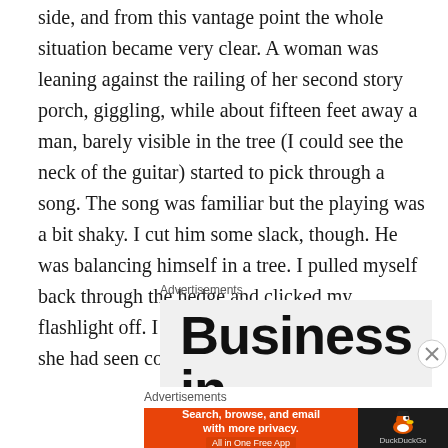side, and from this vantage point the whole situation became very clear. A woman was leaning against the railing of her second story porch, giggling, while about fifteen feet away a man, barely visible in the tree (I could see the neck of the guitar) started to pick through a song. The song was familiar but the playing was a bit shaky. I cut him some slack, though. He was balancing himself in a tree. I pulled myself back through the hedge and clicked my flashlight off. I asked Valerie if the huge weapon she had seen could've been a guitar.
Advertisements
[Figure (infographic): Advertisement banner showing 'Business in' text in large bold font on a light gray background, partially cut off]
Advertisements
[Figure (infographic): DuckDuckGo advertisement banner with orange left section reading 'Search, browse, and email with more privacy. All in One Free App' and dark right section with DuckDuckGo duck logo and text]